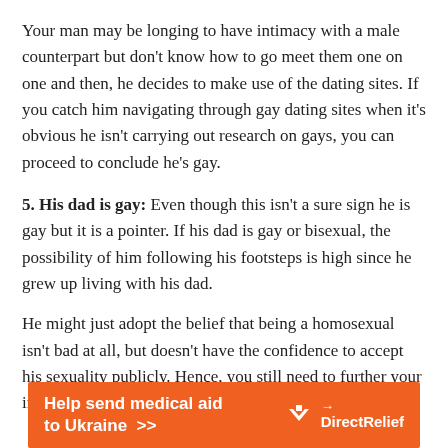Your man may be longing to have intimacy with a male counterpart but don't know how to go meet them one on one and then, he decides to make use of the dating sites. If you catch him navigating through gay dating sites when it's obvious he isn't carrying out research on gays, you can proceed to conclude he's gay.
5. His dad is gay: Even though this isn't a sure sign he is gay but it is a pointer. If his dad is gay or bisexual, the possibility of him following his footsteps is high since he grew up living with his dad.
He might just adopt the belief that being a homosexual isn't bad at all, but doesn't have the confidence to accept his sexuality publicly. Hence, you still need to further your investigation before concluding that he is gay.
[Figure (infographic): Orange advertisement banner for DirectRelief: 'Help send medical aid to Ukraine >>' with DirectRelief logo on the right side.]